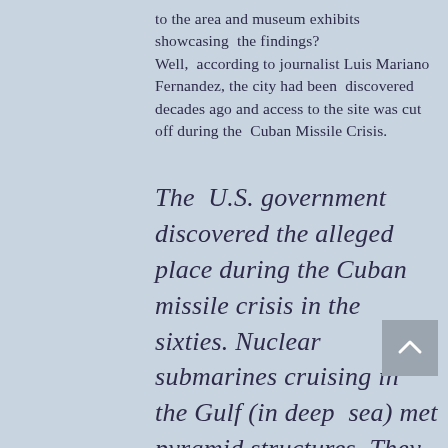to the area and museum exhibits showcasing the findings? Well, according to journalist Luis Mariano Fernandez, the city had been discovered decades ago and access to the site was cut off during the Cuban Missile Crisis.
The U.S. government discovered the alleged place during the Cuban missile crisis in the sixties. Nuclear submarines cruising in the Gulf (in deep sea) met pyramid structures. They immediately shut down the